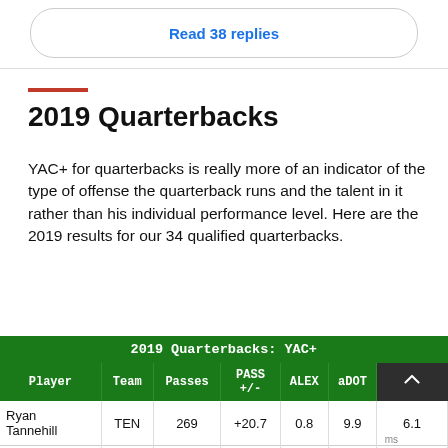Read 38 replies
2019 Quarterbacks
YAC+ for quarterbacks is really more of an indicator of the type of offense the quarterback runs and the talent in it rather than his individual performance level. Here are the 2019 results for our 34 qualified quarterbacks.
| Player | Team | Passes | PASS +/- | ALEX | aDOT | Y |
| --- | --- | --- | --- | --- | --- | --- |
| Ryan Tannehill | TEN | 269 | +20.7 | 0.8 | 9.9 | 6.1 |
| Jimmy Garoppolo | SF | 454 | +5.4 | -2.4 | 6.6 | 6.6 |
| Derek Carr | OAK | 467 | +28.7 | -1.7 | 6.8 | 5.9 |